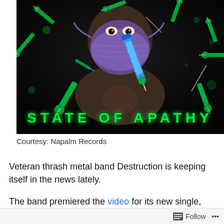[Figure (illustration): Album artwork for 'State of Apathy' by Destruction. Dark background with a figure wearing a purple surgical mask. Syringes and needles floating around. Green text at bottom reads 'STATE OF APATHY'. Published by Napalm Records.]
Courtesy: Napalm Records
Veteran thrash metal band Destruction is keeping itself in the news lately.
The band premiered the video for its new single, 'State of
Follow ...